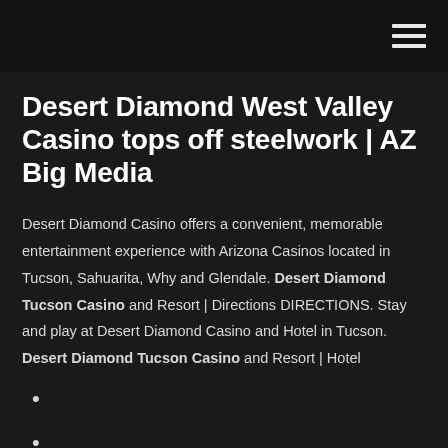≡
Desert Diamond West Valley Casino tops off steelwork | AZ Big Media
Desert Diamond Casino offers a convenient, memorable entertainment experience with Arizona Casinos located in Tucson, Sahuarita, Why and Glendale. Desert Diamond Tucson Casino and Resort | Directions DIRECTIONS. Stay and play at Desert Diamond Casino and Hotel in Tucson. Desert Diamond Tucson Casino and Resort | Hotel